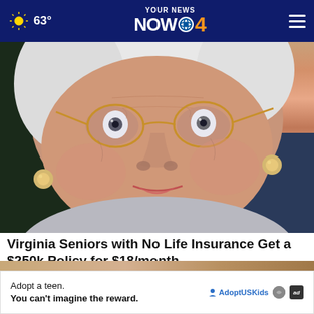63° YOUR NEWS NOW CBS4
[Figure (photo): Close-up photo of an elderly woman with round gold-framed glasses, pearl earrings, white hair, and a warm smile, looking directly at the camera]
Virginia Seniors with No Life Insurance Get a $250k Policy for $18/month
Smart Lifestyle Trends
[Figure (infographic): Advertisement banner: 'Adopt a teen. You can't imagine the reward.' with Adopt US Kids and HHS logos and ad badge]